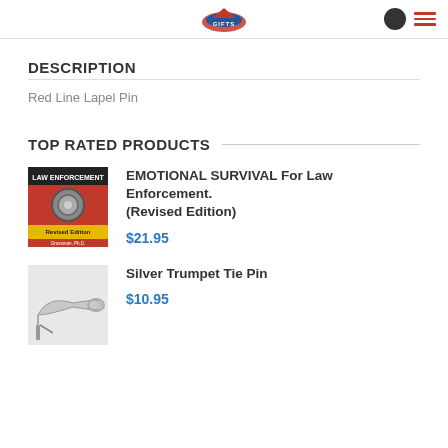Gifts shop logo and navigation
DESCRIPTION
Red Line Lapel Pin
TOP RATED PRODUCTS
[Figure (photo): Book cover for EMOTIONAL SURVIVAL For Law Enforcement (Revised Edition)]
EMOTIONAL SURVIVAL For Law Enforcement. (Revised Edition)
$21.95
[Figure (photo): Photo of Silver Trumpet Tie Pin]
Silver Trumpet Tie Pin
$10.95